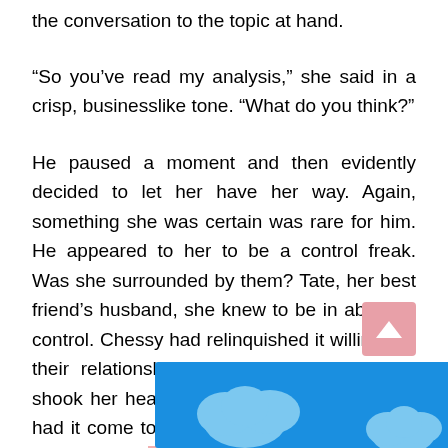the conversation to the topic at hand.
“So you’ve read my analysis,” she said in a crisp, businesslike tone. “What do you think?”
He paused a moment and then evidently decided to let her have her way. Again, something she was certain was rare for him. He appeared to her to be a control freak. Was she surrounded by them? Tate, her best friend’s husband, she knew to be in absolute control. Chessy had relinquished it willingly in their relationship. But Dash . . . She still shook her head over that one. Only recently had it come to light—at least to her—that he was every bit as domin[...] that it was w[...]